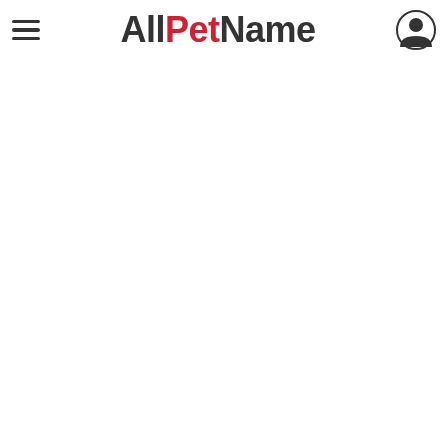AllPetName — site header with hamburger menu and user account icon